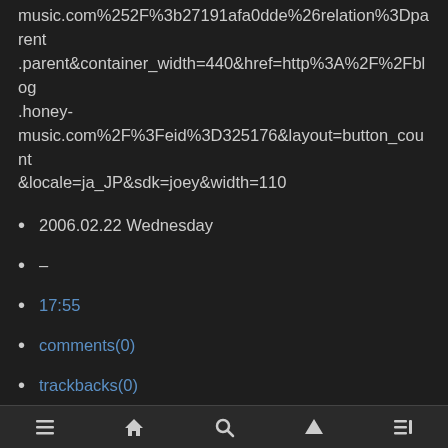music.com%252F%3b27191afa0dde%26relation%3Dparent.parent&container_width=440&href=http%3A%2F%2Fblog.honey-music.com%2F%3Feid%3D325176&layout=button_count&locale=ja_JP&sdk=joey&width=110
2006.02.22 Wednesday
–
17:55
comments(0)
trackbacks(0)
–
by 日本語
≡  🏠  🔍  ↑  ≡